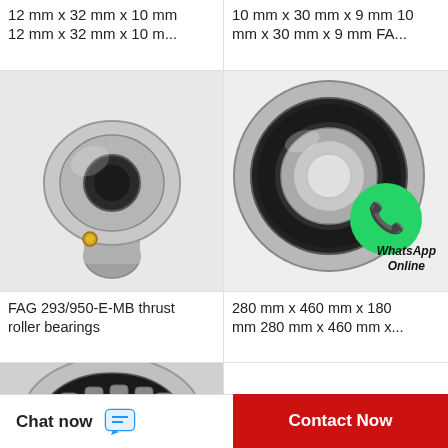12 mm x 32 mm x 10 mm 12 mm x 32 mm x 10 m...
10 mm x 30 mm x 9 mm 10 mm x 30 mm x 9 mm FA...
[Figure (photo): FAG 293/950-E-MB thrust roller bearing - spherical rod end joint bearing, metallic silver/gold finish]
[Figure (photo): Ball bearing (280mm x 460mm x 180mm) shown with WhatsApp Online overlay badge]
FAG 293/950-E-MB thrust roller bearings
280 mm x 460 mm x 180 mm 280 mm x 460 mm x...
[Figure (photo): Partial view of a large roller bearing from below]
Chat now
Contact Now